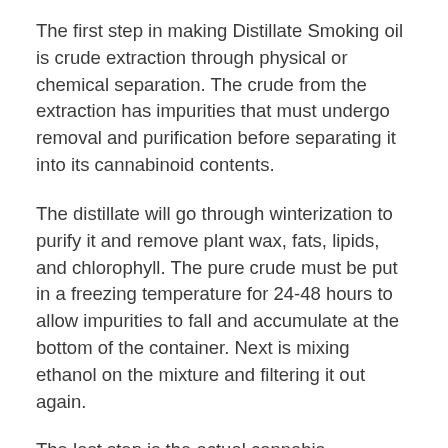The first step in making Distillate Smoking oil is crude extraction through physical or chemical separation. The crude from the extraction has impurities that must undergo removal and purification before separating it into its cannabinoid contents.
The distillate will go through winterization to purify it and remove plant wax, fats, lipids, and chlorophyll. The pure crude must be put in a freezing temperature for 24-48 hours to allow impurities to fall and accumulate at the bottom of the container. Next is mixing ethanol on the mixture and filtering it out again.
The last step is the actual cannabis distillation